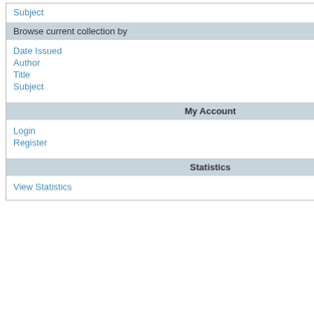Subject
Browse current collection by
Date Issued
Author
Title
Subject
My Account
Login
Register
Statistics
View Statistics
| Field | Value |
| --- | --- |
| dc.identifier.citation | Doyn... Educ... Deve... Town... |
| dc.identifier.isbn | 978-... |
| dc.identifier.uri | http:/... |
| dc.description | JEL C... |
| dc.description.abstract | Using... count... group... under... to be... small... corre... has p... |
| dc.language.iso | en |
| dc.relation.ispartofseries | Saldm... |
| dc.title | Skills... Afric... |